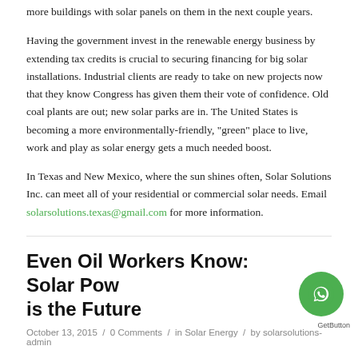more buildings with solar panels on them in the next couple years.
Having the government invest in the renewable energy business by extending tax credits is crucial to securing financing for big solar installations. Industrial clients are ready to take on new projects now that they know Congress has given them their vote of confidence. Old coal plants are out; new solar parks are in. The United States is becoming a more environmentally-friendly, "green" place to live, work and play as solar energy gets a much needed boost.
In Texas and New Mexico, where the sun shines often, Solar Solutions Inc. can meet all of your residential or commercial solar needs. Email solarsolutions.texas@gmail.com for more information.
Even Oil Workers Know: Solar Power is the Future
October 13, 2015  /  0 Comments  /  in Solar Energy  /  by solarsolutions-admin